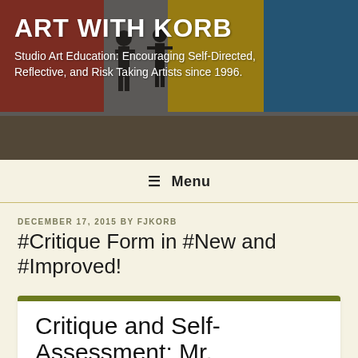[Figure (photo): Art gallery background photo with people standing in front of colorful large-scale paintings (red, yellow, blue) on a white wall; warm-toned lighting]
ART WITH KORB
Studio Art Education: Encouraging Self-Directed, Reflective, and Risk Taking Artists since 1996.
≡  Menu
DECEMBER 17, 2015 BY FJKORB
#Critique Form in #New and #Improved!
Critique and Self-Assessment: Mr. Korb's Classes